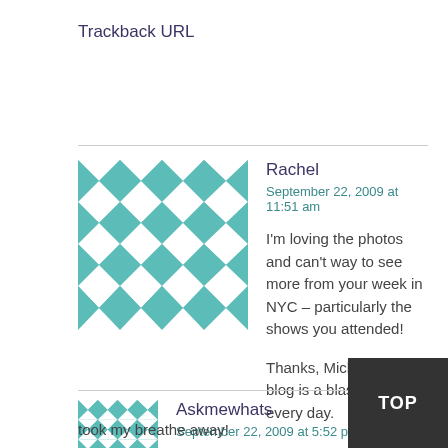Trackback URL
Rachel
September 22, 2009 at 11:51 am

I'm loving the photos and can't way to see more from your week in NYC – particularly the shows you attended!

Thanks, Michelle! Your blog is a blast to read every day.
Askmewhats
September 22, 2009 at 5:52 pm

Xtreme Wear Disco Ball over In The N... took my breathe away!